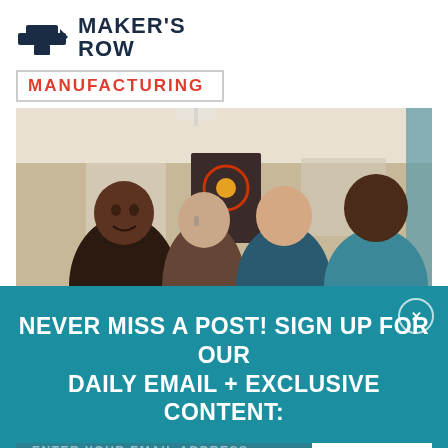[Figure (logo): Maker's Row logo with anvil icon and bold text MAKER'S ROW]
MANUFACTURING
[Figure (photo): Four women smiling together indoors, with artwork/posters visible on the wall behind them]
NEVER MISS A POST! SIGN UP FOR OUR DAILY EMAIL + EXCLUSIVE CONTENT:
ENTER YOUR EMAIL ADDRESS
JOIN